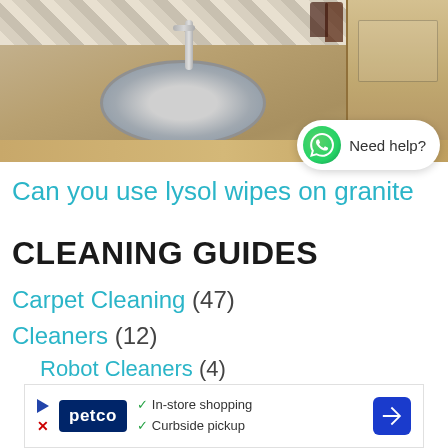[Figure (photo): Kitchen countertop with granite surface, undermount sink, faucet, tile backsplash, and wooden cabinets on the right]
Can you use lysol wipes on granite
CLEANING GUIDES
Carpet Cleaning (47)
Cleaners (12)
Robot Cleaners (4)
[Figure (infographic): Petco advertisement banner: In-store shopping, Curbside pickup]